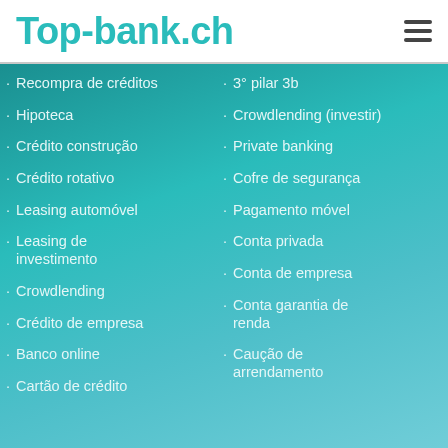Top-bank.ch
Recompra de créditos
Hipoteca
Crédito construção
Crédito rotativo
Leasing automóvel
Leasing de investimento
Crowdlending
Crédito de empresa
Banco online
Cartão de crédito
3° pilar 3b
Crowdlending (investir)
Private banking
Cofre de segurança
Pagamento móvel
Conta privada
Conta de empresa
Conta garantia de renda
Caução de arrendamento